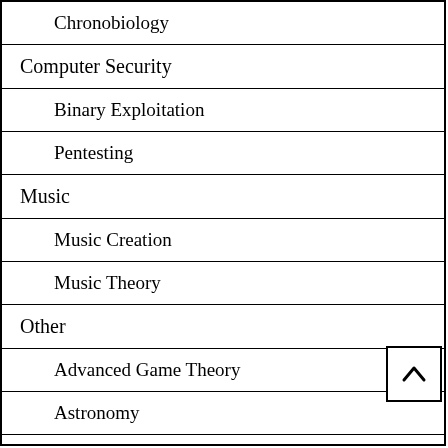Chronobiology
Computer Security
Binary Exploitation
Pentesting
Music
Music Creation
Music Theory
Other
Advanced Game Theory
Astronomy
Gardening